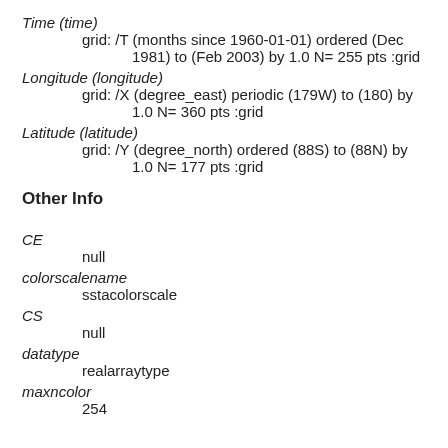Time (time)
        grid: /T (months since 1960-01-01) ordered (Dec 1981) to (Feb 2003) by 1.0 N= 255 pts :grid
Longitude (longitude)
        grid: /X (degree_east) periodic (179W) to (180) by 1.0 N= 360 pts :grid
Latitude (latitude)
        grid: /Y (degree_north) ordered (88S) to (88N) by 1.0 N= 177 pts :grid
Other Info
CE
        null
colorscalename
        sstacolorscale
CS
        null
datatype
        realarraytype
maxncolor
        254